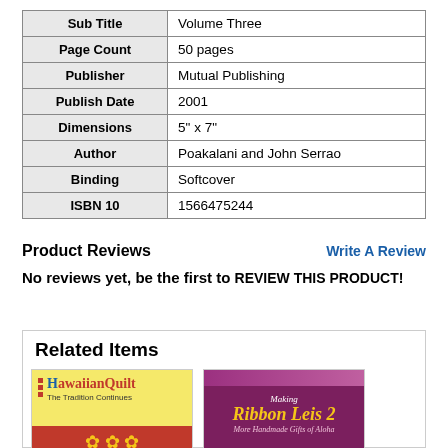| Field | Value |
| --- | --- |
| Sub Title | Volume Three |
| Page Count | 50 pages |
| Publisher | Mutual Publishing |
| Publish Date | 2001 |
| Dimensions | 5" x 7" |
| Author | Poakalani and John Serrao |
| Binding | Softcover |
| ISBN 10 | 1566475244 |
Product Reviews
Write A Review
No reviews yet, be the first to REVIEW THIS PRODUCT!
Related Items
[Figure (photo): Book cover: Hawaiian Quilt - The Tradition Continues]
[Figure (photo): Book cover: Making Ribbon Leis 2 - More Handmade Gifts of Aloha]